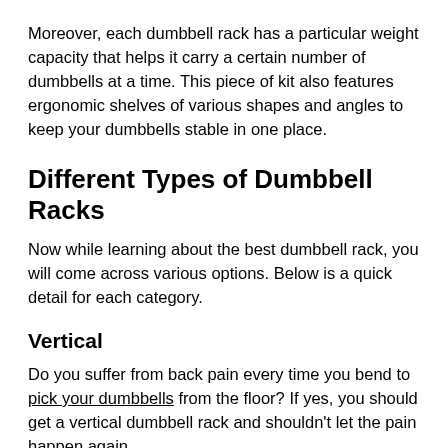Moreover, each dumbbell rack has a particular weight capacity that helps it carry a certain number of dumbbells at a time. This piece of kit also features ergonomic shelves of various shapes and angles to keep your dumbbells stable in one place.
Different Types of Dumbbell Racks
Now while learning about the best dumbbell rack, you will come across various options. Below is a quick detail for each category.
Vertical
Do you suffer from back pain every time you bend to pick your dumbbells from the floor? If yes, you should get a vertical dumbbell rack and shouldn't let the pain happen again.